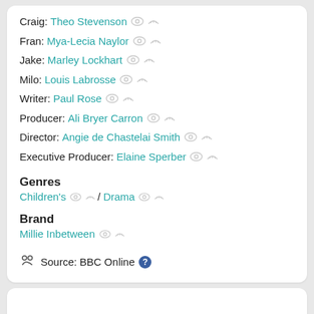Craig: Theo Stevenson
Fran: Mya-Lecia Naylor
Jake: Marley Lockhart
Milo: Louis Labrosse
Writer: Paul Rose
Producer: Ali Bryer Carron
Director: Angie de Chastelai Smith
Executive Producer: Elaine Sperber
Genres
Children's / Drama
Brand
Millie Inbetween
Source: BBC Online